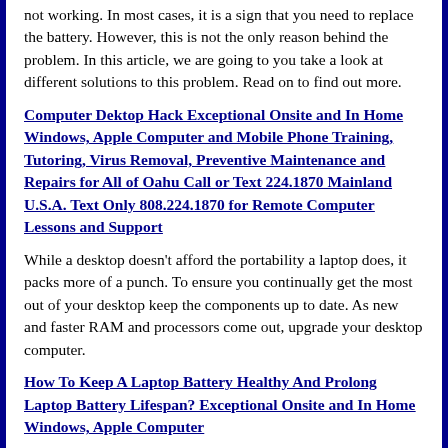not working. In most cases, it is a sign that you need to replace the battery. However, this is not the only reason behind the problem. In this article, we are going to you take a look at different solutions to this problem. Read on to find out more.
Computer Dektop Hack Exceptional Onsite and In Home Windows, Apple Computer and Mobile Phone Training, Tutoring, Virus Removal, Preventive Maintenance and Repairs for All of Oahu Call or Text 224.1870 Mainland U.S.A. Text Only 808.224.1870 for Remote Computer Lessons and Support
While a desktop doesn't afford the portability a laptop does, it packs more of a punch. To ensure you continually get the most out of your desktop keep the components up to date. As new and faster RAM and processors come out, upgrade your desktop computer.
How To Keep A Laptop Battery Healthy And Prolong Laptop Battery Lifespan? Exceptional Onsite and In Home Windows, Apple Computer